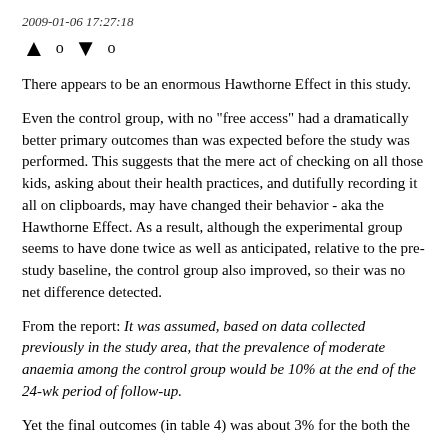2009-01-06 17:27:18
↑ 0 ↓ 0
There appears to be an enormous Hawthorne Effect in this study.
Even the control group, with no "free access" had a dramatically better primary outcomes than was expected before the study was performed. This suggests that the mere act of checking on all those kids, asking about their health practices, and dutifully recording it all on clipboards, may have changed their behavior - aka the Hawthorne Effect. As a result, although the experimental group seems to have done twice as well as anticipated, relative to the pre-study baseline, the control group also improved, so their was no net difference detected.
From the report: It was assumed, based on data collected previously in the study area, that the prevalence of moderate anaemia among the control group would be 10% at the end of the 24-wk period of follow-up.
Yet the final outcomes (in table 4) was about 3% for the both the